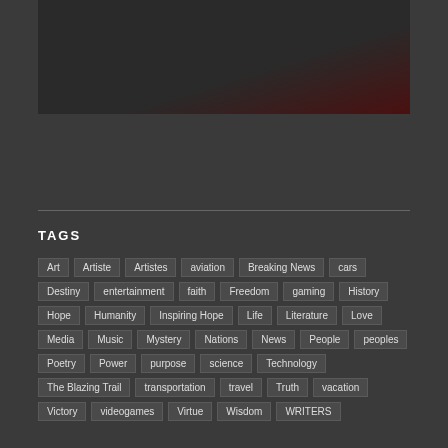[Figure (photo): Dark image with reddish tones in upper right corner]
TAGS
Art
Artiste
Artistes
aviation
Breaking News
cars
Destiny
entertainment
faith
Freedom
gaming
History
Hope
Humanity
Inspiring Hope
Life
Literature
Love
Media
Music
Mystery
Nations
News
People
peoples
Poetry
Power
purpose
science
Technology
The Blazing Trail
transportation
travel
Truth
vacation
Victory
videogames
Virtue
Wisdom
WRITERS